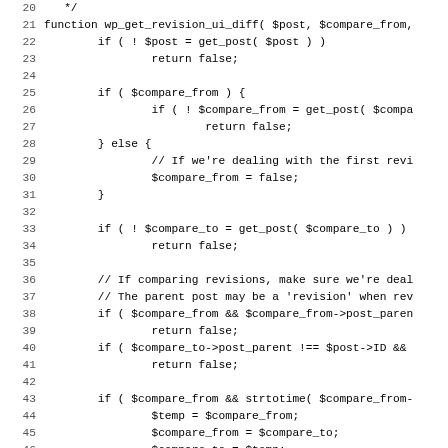[Figure (screenshot): Source code listing showing PHP function wp_get_revision_ui_diff with line numbers 20-51. Code includes conditional checks for $post, $compare_from, $compare_to, and related revision comparison logic.]